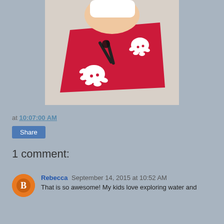[Figure (photo): A young child with blonde hair cutting a red piece of paper with black scissors. The red paper has white decorative snowflake or jellyfish-like cutouts on it, placed on a white table surface.]
at 10:07:00 AM
Share
1 comment:
Rebecca September 14, 2015 at 10:52 AM
That is so awesome! My kids love exploring water and